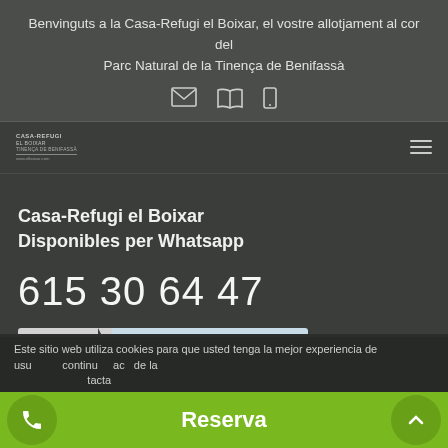Benvinguts a la Casa-Refugi el Boixar, el vostre allotjament al cor del Parc Natural de la Tinença de Benifassà
[Figure (other): Three icon symbols: envelope (email), map/book, mobile phone]
[Figure (logo): Casa-Refugi el Boixar logo with small text lines and website url]
Casa-Refugi el Boixar
Disponibles per Whatsapp
615 30 64 47
Este sitio web utiliza cookies para que usted tenga la mejor experiencia de usu... continu... ac... de la... Contacta...
Reserva